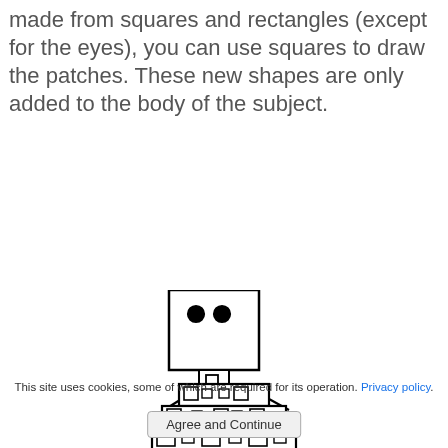made from squares and rectangles (except for the eyes), you can use squares to draw the patches. These new shapes are only added to the body of the subject.
[Figure (illustration): A cartoon robot-like figure made of rectangles and squares. It has a large rectangular head with two circular eyes, a narrow neck area, and a body composed of stacked rectangular blocks covered with small square patches. Two diagonal lines extend from the sides like arms or wings.]
This site uses cookies, some of which are required for its operation. Privacy policy.
Agree and Continue